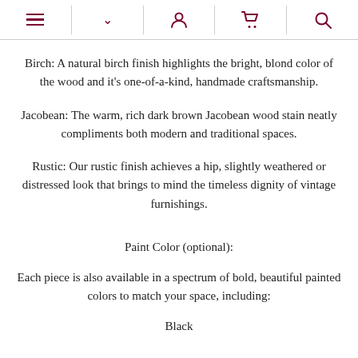[Navigation icons: hamburger menu, chevron, user, cart, search]
Birch: A natural birch finish highlights the bright, blond color of the wood and it's one-of-a-kind, handmade craftsmanship.
Jacobean: The warm, rich dark brown Jacobean wood stain neatly compliments both modern and traditional spaces.
Rustic: Our rustic finish achieves a hip, slightly weathered or distressed look that brings to mind the timeless dignity of vintage furnishings.
Paint Color (optional):
Each piece is also available in a spectrum of bold, beautiful painted colors to match your space, including:
Black